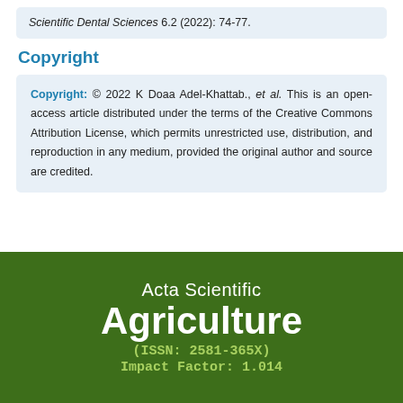Scientific Dental Sciences 6.2 (2022): 74-77.
Copyright
Copyright: © 2022 K Doaa Adel-Khattab., et al. This is an open-access article distributed under the terms of the Creative Commons Attribution License, which permits unrestricted use, distribution, and reproduction in any medium, provided the original author and source are credited.
[Figure (logo): Acta Scientific Agriculture journal banner with green background, showing journal name, ISSN: 2581-365X, and Impact Factor: 1.014]